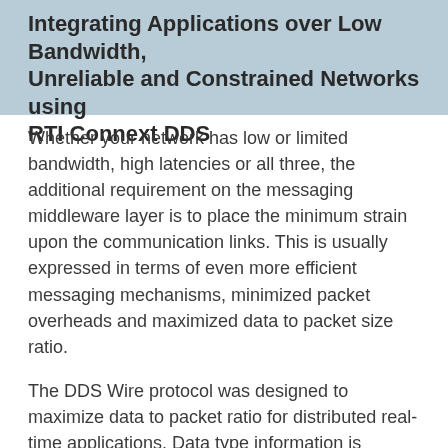Integrating Applications over Low Bandwidth, Unreliable and Constrained Networks using RTI Connext DDS
Whether your network has low or limited bandwidth, high latencies or all three, the additional requirement on the messaging middleware layer is to place the minimum strain upon the communication links. This is usually expressed in terms of even more efficient messaging mechanisms, minimized packet overheads and maximized data to packet size ratio.
The DDS Wire protocol was designed to maximize data to packet ratio for distributed real-time applications. Data type information is exchanged once at discovery time, not continuously at run-time. In addition, the open OMG standard wire protocol of DDS (called the DDS-RTPS